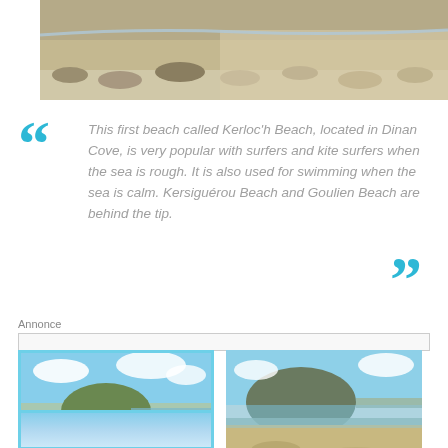[Figure (photo): Top cropped beach photo showing pebbles and sandy shore with water in background]
This first beach called Kerloc’h Beach, located in Dinan Cove, is very popular with surfers and kite surfers when the sea is rough. It is also used for swimming when the sea is calm. Kersiguérou Beach and Goulien Beach are behind the tip.
Annonce
[Figure (photo): Beach photo with rocky headland, sandy shore and blue sky, cyan border]
[Figure (photo): Beach photo with rocky cliffs, sandy shore and calm sea, no border]
[Figure (photo): Partial photo showing blue sky with clouds, cyan border, cropped at bottom]